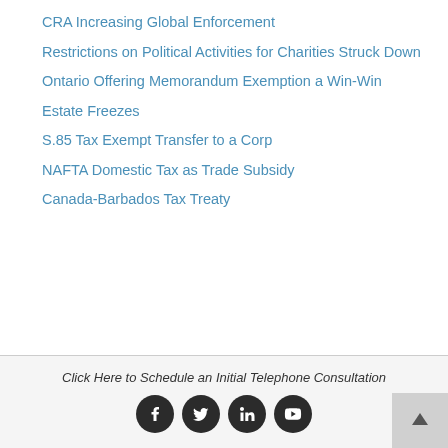CRA Increasing Global Enforcement
Restrictions on Political Activities for Charities Struck Down
Ontario Offering Memorandum Exemption a Win-Win
Estate Freezes
S.85 Tax Exempt Transfer to a Corp
NAFTA Domestic Tax as Trade Subsidy
Canada-Barbados Tax Treaty
Click Here to Schedule an Initial Telephone Consultation